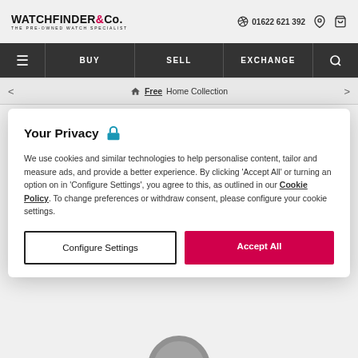WATCHFINDER & Co. THE PRE-OWNED WATCH SPECIALIST | 01622 621 392
BUY | SELL | EXCHANGE
Free Home Collection
... > 203201
IWC
Your Privacy
We use cookies and similar technologies to help personalise content, tailor and measure ads, and provide a better experience. By clicking 'Accept All' or turning an option on in 'Configure Settings', you agree to this, as outlined in our Cookie Policy. To change preferences or withdraw consent, please configure your cookie settings.
Configure Settings
Accept All